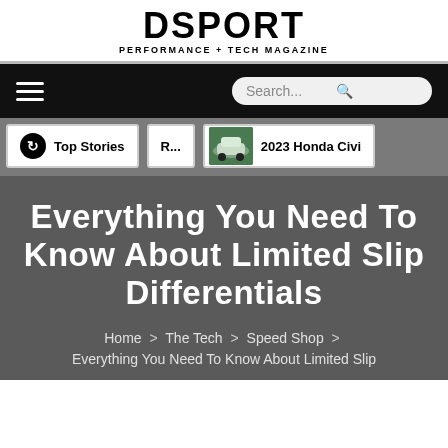DSPORT PERFORMANCE + TECH MAGAZINE
Top Stories | R... | 2023 Honda Civi
Everything You Need To Know About Limited Slip Differentials
Home > The Tech > Speed Shop > Everything You Need To Know About Limited Slip